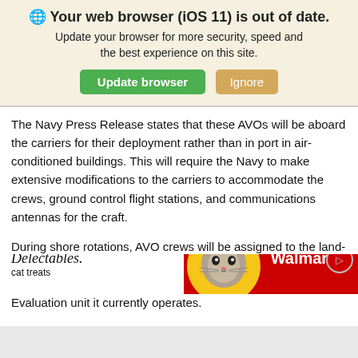[Figure (screenshot): Browser update notification banner with globe icon, bold title 'Your web browser (iOS 11) is out of date.', subtitle text, and two buttons: 'Update browser' (green) and 'Ignore' (tan/gold).]
The Navy Press Release states that these AVOs will be aboard the carriers for their deployment rather than in port in air-conditioned buildings. This will require the Navy to make extensive modifications to the carriers to accommodate the crews, ground control flight stations, and communications antennas for the craft.
During shore rotations, AVO crews will be assigned to the land-based MQ-4C Triton. This indicates that the Navy will expand the Triton program beyond the single Air Test and Evaluation unit it currently operates.
[Figure (screenshot): Walmart advertisement banner: white left section with 'Treat your cat the best with Delectables cat treats', yellow circle with cat photo in center, red right section with Walmart logo and spark.]